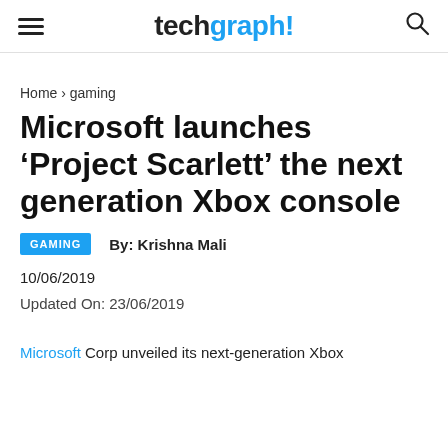techgraph!
Home › gaming
Microsoft launches 'Project Scarlett' the next generation Xbox console
GAMING   By: Krishna Mali
10/06/2019
Updated On: 23/06/2019
Microsoft Corp unveiled its next-generation Xbox